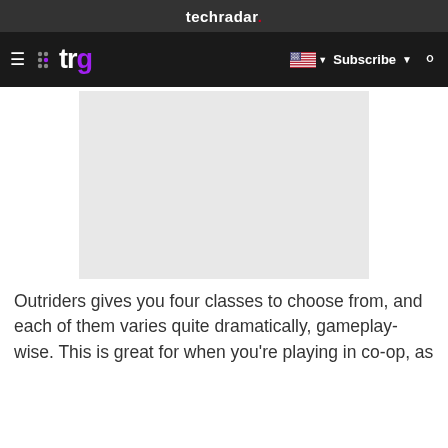techradar.
trg  Subscribe
[Figure (photo): Gray placeholder image block for an Outriders article on TechRadar Gaming]
Outriders gives you four classes to choose from, and each of them varies quite dramatically, gameplay-wise. This is great for when you're playing in co-op, as